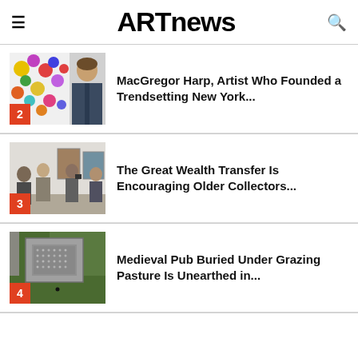ARTnews
[Figure (photo): Man standing in front of colorful floral artwork]
MacGregor Harp, Artist Who Founded a Trendsetting New York...
[Figure (photo): People viewing art at a gallery opening]
The Great Wealth Transfer Is Encouraging Older Collectors...
[Figure (photo): Aerial view of a large stone structure in a field]
Medieval Pub Buried Under Grazing Pasture Is Unearthed in...